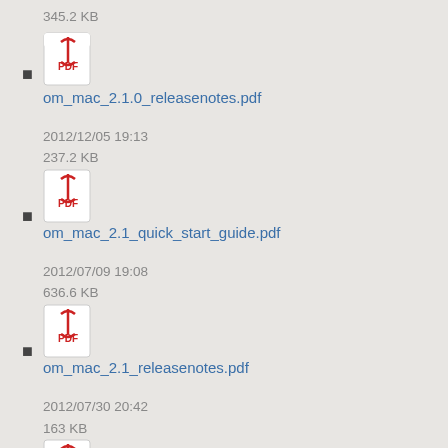345.2 KB
om_mac_2.1.0_releasenotes.pdf
2012/12/05 19:13
237.2 KB
om_mac_2.1_quick_start_guide.pdf
2012/07/09 19:08
636.6 KB
om_mac_2.1_releasenotes.pdf
2012/07/30 20:42
163 KB
om_mac_2.2.0_quick_start_guide.pdf